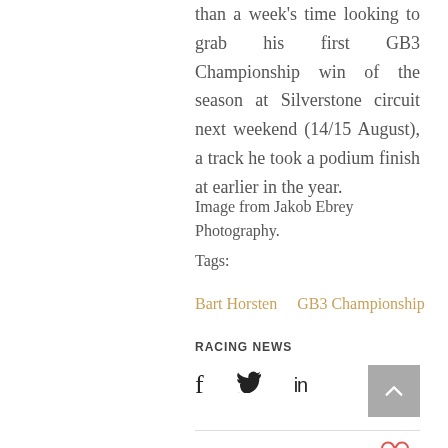than a week's time looking to grab his first GB3 Championship win of the season at Silverstone circuit next weekend (14/15 August), a track he took a podium finish at earlier in the year.
Image from Jakob Ebrey Photography.
Tags:
Bart Horsten   GB3 Championship
RACING NEWS
[Figure (other): Social sharing icons: Facebook (f), Twitter (bird), LinkedIn (in), and a scroll-to-top button (grey square with upward chevron)]
[Figure (other): Heart/like icon (red outline heart)]
Categories